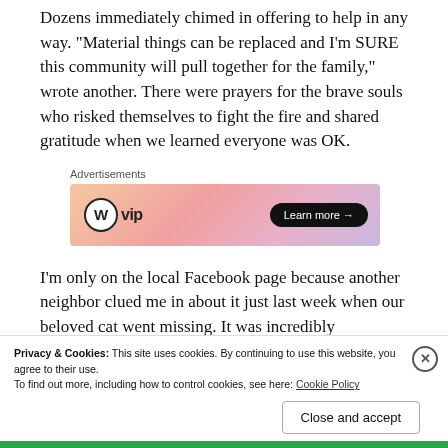Dozens immediately chimed in offering to help in any way. "Material things can be replaced and I'm SURE this community will pull together for the family," wrote another. There were prayers for the brave souls who risked themselves to fight the fire and shared gratitude when we learned everyone was OK.
[Figure (screenshot): WordPress VIP advertisement banner with gradient orange-pink background and 'Learn more' button]
I'm only on the local Facebook page because another neighbor clued me in about it just last week when our beloved cat went missing. It was incredibly
Privacy & Cookies: This site uses cookies. By continuing to use this website, you agree to their use. To find out more, including how to control cookies, see here: Cookie Policy
Close and accept